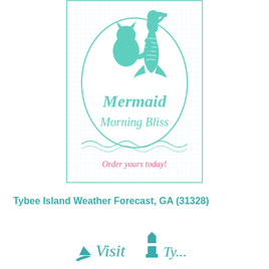[Figure (logo): Mermaid Morning Bliss logo: teal/mint colored oval badge with a mermaid silhouette holding a coffee cup and a cat, script text reading 'Mermaid Morning Bliss', decorative border, and pink italic text at bottom reading 'Order yours today!']
Tybee Island Weather Forecast, GA (31328)
[Figure (logo): Visit Tybee Island logo partially visible at bottom of page, teal colored with lighthouse icon and script text]